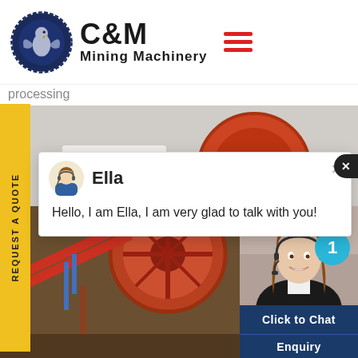[Figure (logo): C&M Mining Machinery logo with eagle/gear emblem in dark blue circle, bold black C&M text and Mining Machinery subtitle]
processing
[Figure (photo): Industrial mining machinery photo showing red/orange equipment, partially visible]
REQUEST A QUOTE
[Figure (screenshot): Chat popup with avatar of Ella (customer service agent) and message: Hello, I am Ella, I am very glad to talk with you!]
[Figure (photo): Mining machinery with large orange wheel/flywheel visible, conveyor structure with red metal railings]
[Figure (photo): Customer service woman with headset smiling, notification badge showing 1]
Click to Chat
Enquiry